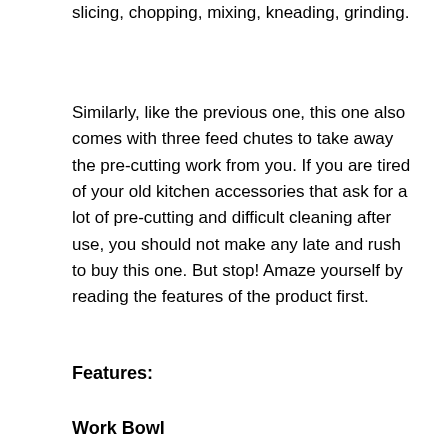slicing, chopping, mixing, kneading, grinding.
Similarly, like the previous one, this one also comes with three feed chutes to take away the pre-cutting work from you. If you are tired of your old kitchen accessories that ask for a lot of pre-cutting and difficult cleaning after use, you should not make any late and rush to buy this one. But stop! Amaze yourself by reading the features of the product first.
Features:
Work Bowl